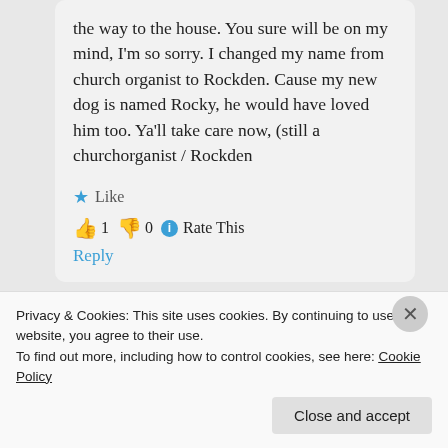the way to the house. You sure will be on my mind, I'm so sorry. I changed my name from church organist to Rockden. Cause my new dog is named Rocky, he would have loved him too. Ya'll take care now, (still a churchorganist / Rockden
★ Like
👍 1 👎 0 ℹ Rate This
Reply
Privacy & Cookies: This site uses cookies. By continuing to use this website, you agree to their use.
To find out more, including how to control cookies, see here: Cookie Policy
Close and accept